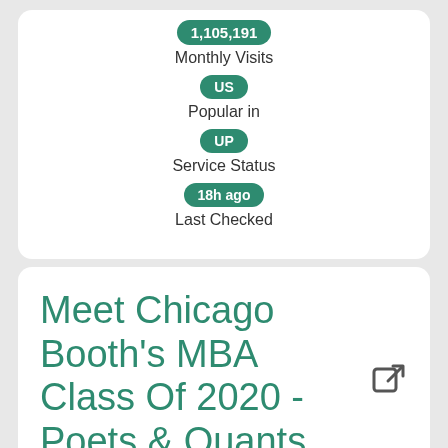1,105,191
Monthly Visits
US
Popular in
UP
Service Status
18h ago
Last Checked
Meet Chicago Booth's MBA Class Of 2020 - Poets & Quants